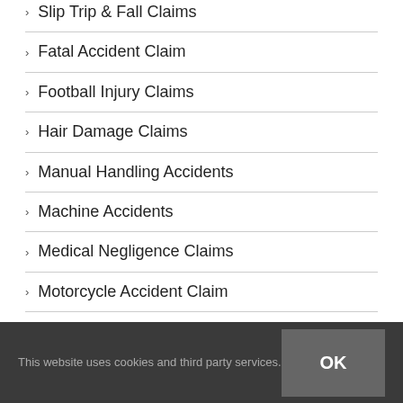> Slip Trip & Fall Claims
> Fatal Accident Claim
> Football Injury Claims
> Hair Damage Claims
> Manual Handling Accidents
> Machine Accidents
> Medical Negligence Claims
> Motorcycle Accident Claim
> Conveyancing Negligence
This website uses cookies and third party services.